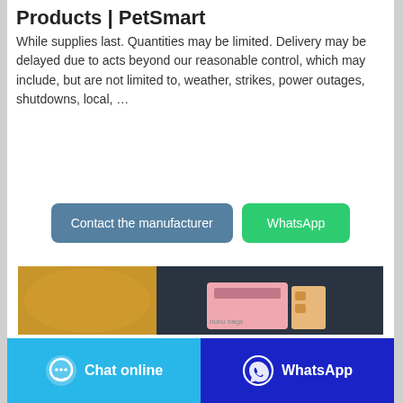Products | PetSmart
While supplies last. Quantities may be limited. Delivery may be delayed due to acts beyond our reasonable control, which may include, but are not limited to, weather, strikes, power outages, shutdowns, local, …
[Figure (screenshot): Two buttons: 'Contact the manufacturer' (blue-grey) and 'WhatsApp' (green)]
[Figure (photo): Product photo showing yellow fabric on left and a pink bubu bags product box on dark background]
[Figure (screenshot): Bottom action bar with 'Chat online' button (cyan/light blue) and 'WhatsApp' button (dark blue)]